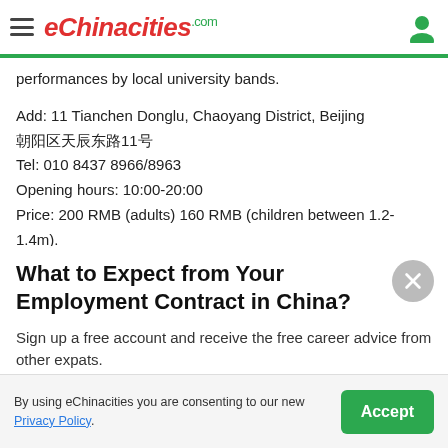eChinacities.com
performances by local university bands.
Add: 11 Tianchen Donglu, Chaoyang District, Beijing
朝阳区天辰东路11号
Tel: 010 8437 8966/8963
Opening hours: 10:00-20:00
Price: 200 RMB (adults) 160 RMB (children between 1.2-1.4m).
What to Expect from Your Employment Contract in China?
Sign up a free account and receive the free career advice from other expats.
[Figure (other): Sign up with Google button]
By using eChinacities you are consenting to our new Privacy Policy.